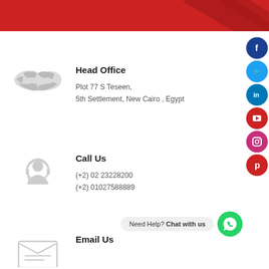[Figure (illustration): Red banner header with diagonal geometric lines]
[Figure (illustration): Grey world map icon]
Head Office
Plot 77 S Teseen,
5th Settlement, New Cairo , Egypt
[Figure (illustration): Grey headset/customer service icon]
Call Us
(+2) 02 23228200
(+2) 01027588889
Need Help? Chat with us
[Figure (illustration): Grey email/envelope icon]
Email Us